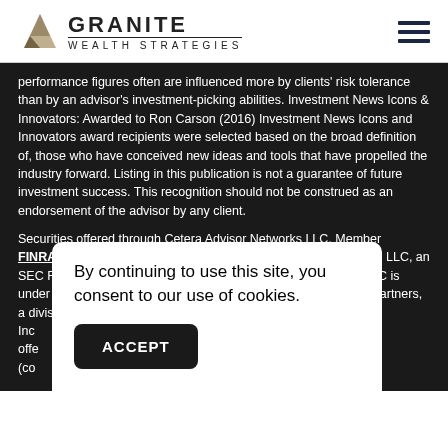[Figure (logo): Granite Wealth Strategies logo with mountain/granite icon and hamburger menu icon]
performance figures often are influenced more by clients' risk tolerance than by an advisor's investment-picking abilities. Investment News Icons & Innovators: Awarded to Ron Carson (2016) Investment News Icons and Innovators award recipients were selected based on the broad definition of, those who have conceived new ideas and tools that have propelled the industry forward. Listing in this publication is not a guarantee of future investment success. This recognition should not be construed as an endorsement of the advisor by any client.
Securities offered through Cetera Advisor Networks LLC, Member FINRA/SIPC. Investment advisory services offered through CWM, LLC, an SEC Registered Investment Advisor. Cetera Advisor Networks LLC is under separate ownership from any other named entity. Carson Partners, a division of CWM, LLC, is a nationally recognized coaching and consulting brand... (continues)
By continuing to use this site, you consent to our use of cookies.
ACCEPT